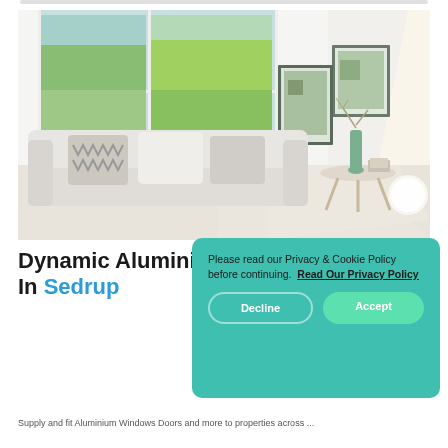[Figure (photo): Bright minimalist white living room interior with a white sofa, decorative cushions, large window with green garden view, framed artwork on wall, small round side table with vase and books, and a round floor lamp]
Dynamic Aluminium Windows Designs In Sedrup
Please read our Privacy & Cookie Policy before continuing. Read Our Privacy Policy
Decline
Accept